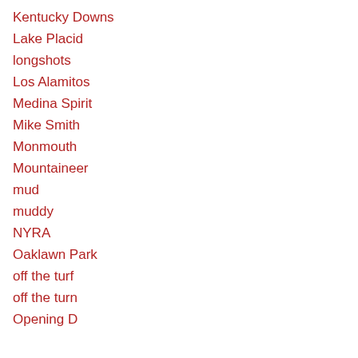Kentucky Downs
Lake Placid
longshots
Los Alamitos
Medina Spirit
Mike Smith
Monmouth
Mountaineer
mud
muddy
NYRA
Oaklawn Park
off the turf
off the turn
Opening Day